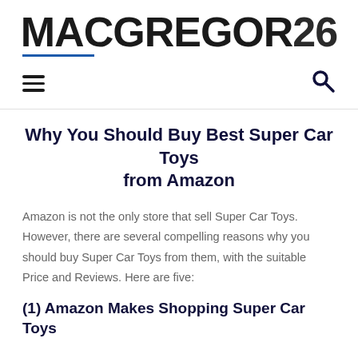MACGREGOR26
Why You Should Buy Best Super Car Toys from Amazon
Amazon is not the only store that sell Super Car Toys. However, there are several compelling reasons why you should buy Super Car Toys from them, with the suitable Price and Reviews. Here are five:
(1) Amazon Makes Shopping Super Car Toys